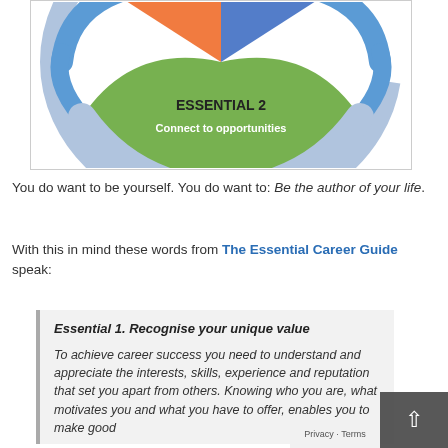[Figure (infographic): Circular/wheel diagram showing 'ESSENTIAL 2 – Connect to opportunities' in green at the bottom, with orange and blue segments and arrows around a circular shape. Partial view of the top of the diagram.]
You do want to be yourself. You do want to: Be the author of your life.
With this in mind these words from The Essential Career Guide speak:
Essential 1. Recognise your unique value
To achieve career success you need to understand and appreciate the interests, skills, experience and reputation that set you apart from others. Knowing who you are, what motivates you and what you have to offer, enables you to make good